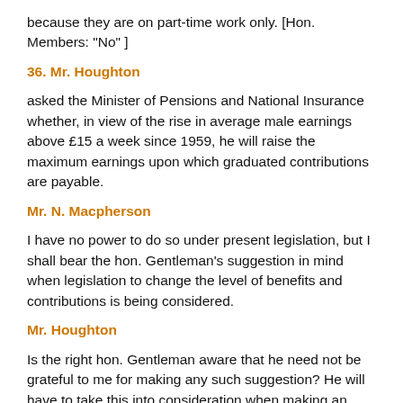because they are on part-time work only. [Hon. Members: “No” ]
36. Mr. Houghton
asked the Minister of Pensions and National Insurance whether, in view of the rise in average male earnings above £15 a week since 1959, he will raise the maximum earnings upon which graduated contributions are payable.
Mr. N. Macpherson
I have no power to do so under present legislation, but I shall bear the hon. Gentleman's suggestion in mind when legislation to change the level of benefits and contributions is being considered.
Mr. Houghton
Is the right hon. Gentleman aware that he need not be grateful to me for making any such suggestion? He will have to take this into consideration when making an increase in the flat-rate pension after his “close review” . Is the Minister really in the muddle he conveys to the House on this matter? Has he considered whether it is—